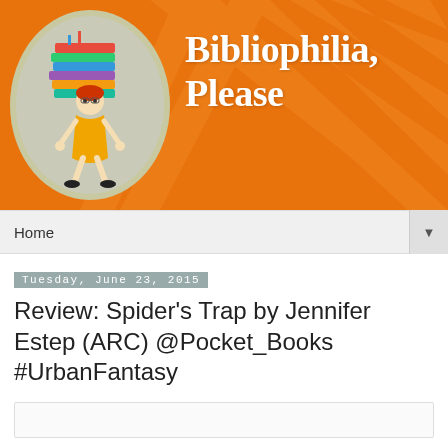[Figure (illustration): Blog header banner with orange background with diagonal lighter orange stripes. Left side has an oval with a cartoon girl carrying a tall stack of colorful books. Right side shows the blog title 'Bibliophilia, Please' in large white serif text.]
Home
Tuesday, June 23, 2015
Review: Spider's Trap by Jennifer Estep (ARC) @Pocket_Books #UrbanFantasy